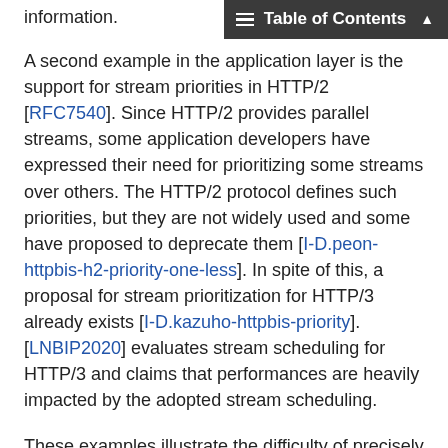information.
Table of Contents
A second example in the application layer is the support for stream priorities in HTTP/2 [RFC7540]. Since HTTP/2 provides parallel streams, some application developers have expressed their need for prioritizing some streams over others. The HTTP/2 protocol defines such priorities, but they are not widely used and some have proposed to deprecate them [I-D.peon-httpbis-h2-priority-one-less]. In spite of this, a proposal for stream prioritization for HTTP/3 already exists [I-D.kazuho-httpbis-priority]. [LNBIP2020] evaluates stream scheduling for HTTP/3 and claims that performances are heavily impacted by the adopted stream scheduling.
These examples illustrate the difficulty of precisely expressing complex behaviors in a few parameters that are exchanged inside packets.
In this document, we propose a different approach to specify and implement protocols to better address the extensibility requirement. We focus on the QUIC protocol in this document, but similar ideas could be applied to other IETF